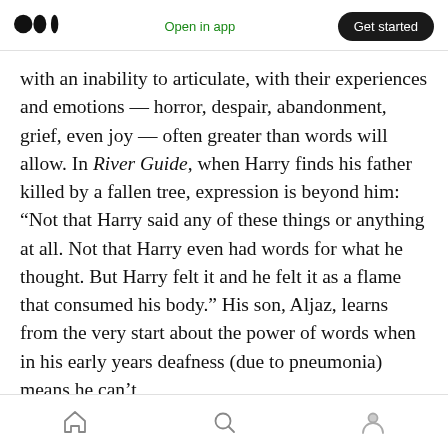Medium logo | Open in app | Get started
with an inability to articulate, with their experiences and emotions — horror, despair, abandonment, grief, even joy — often greater than words will allow. In River Guide, when Harry finds his father killed by a fallen tree, expression is beyond him: “Not that Harry said any of these things or anything at all. Not that Harry even had words for what he thought. But Harry felt it and he felt it as a flame that consumed his body.” His son, Aljaz, learns from the very start about the power of words when in his early years deafness (due to pneumonia) means he can’t
Home | Search | Profile